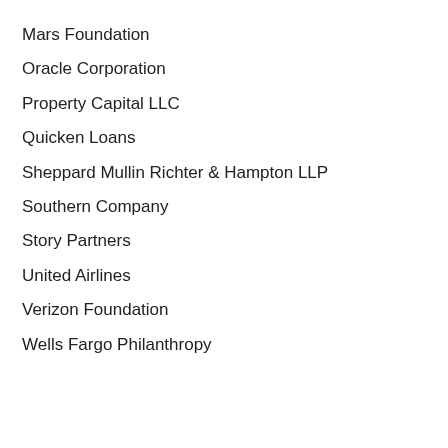Mars Foundation
Oracle Corporation
Property Capital LLC
Quicken Loans
Sheppard Mullin Richter & Hampton LLP
Southern Company
Story Partners
United Airlines
Verizon Foundation
Wells Fargo Philanthropy